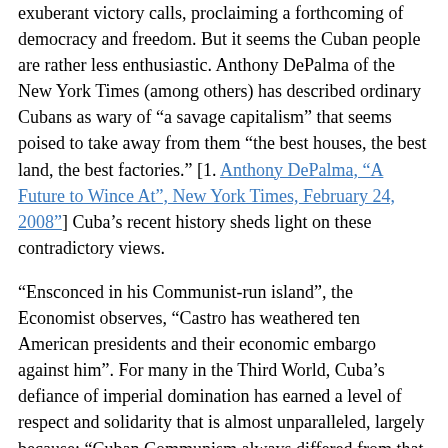exuberant victory calls, proclaiming a forthcoming of democracy and freedom. But it seems the Cuban people are rather less enthusiastic. Anthony DePalma of the New York Times (among others) has described ordinary Cubans as wary of "a savage capitalism" that seems poised to take away from them "the best houses, the best land, the best factories." [1. Anthony DePalma, "A Future to Wince At", New York Times, February 24, 2008"] Cuba's recent history sheds light on these contradictory views.
"Ensconced in his Communist-run island", the Economist observes, "Castro has weathered ten American presidents and their economic embargo against him". For many in the Third World, Cuba's defiance of imperial domination has earned a level of respect and solidarity that is almost unparalleled, largely because: "Cuban Communism always differed from that of Eastern Europe in being the product of a national revolution, not of foreign conquest."[2. The Economist, "Castro's Legacy", February 21, 2008.]
Yet it would be a mistake to believe that Cuba has ever been